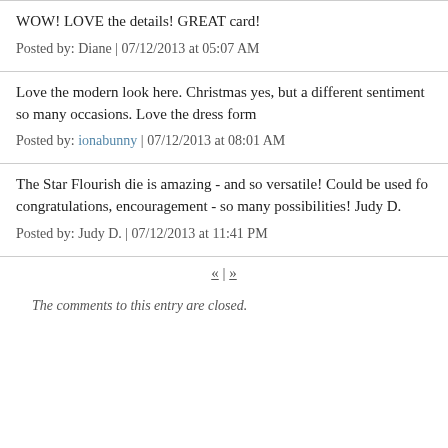WOW! LOVE the details! GREAT card!
Posted by: Diane | 07/12/2013 at 05:07 AM
Love the modern look here. Christmas yes, but a different sentiment so many occasions. Love the dress form
Posted by: ionabunny | 07/12/2013 at 08:01 AM
The Star Flourish die is amazing - and so versatile! Could be used fo congratulations, encouragement - so many possibilities! Judy D.
Posted by: Judy D. | 07/12/2013 at 11:41 PM
« | »
The comments to this entry are closed.